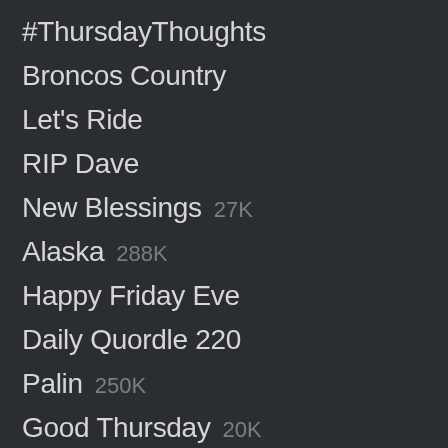#ThursdayThoughts
Broncos Country
Let's Ride
RIP Dave
New Blessings 27K
Alaska 288K
Happy Friday Eve
Daily Quordle 220
Palin 250K
Good Thursday 20K
Happy 901
Bank of America